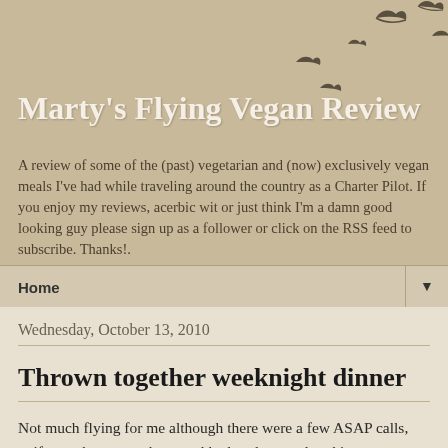[Figure (illustration): Several flying bird silhouettes in dark brownish-gray arranged in a scattered flock pattern across the upper right of the header]
Marty's Flying Vegan Review
A review of some of the (past) vegetarian and (now) exclusively vegan meals I've had while traveling around the country as a Charter Pilot. If you enjoy my reviews, acerbic wit or just think I'm a damn good looking guy please sign up as a follower or click on the RSS feed to subscribe. Thanks!.
Home ▼
Wednesday, October 13, 2010
Thrown together weeknight dinner
Not much flying for me although there were a few ASAP calls, uniforms thrown on, bags grabbed to drag, and parking spaces given up.  (In Manhattan, New York, NY, a parking space is a special precious commodity. 4 times a week there is No Parking for 90 minutes on one side of the street or the